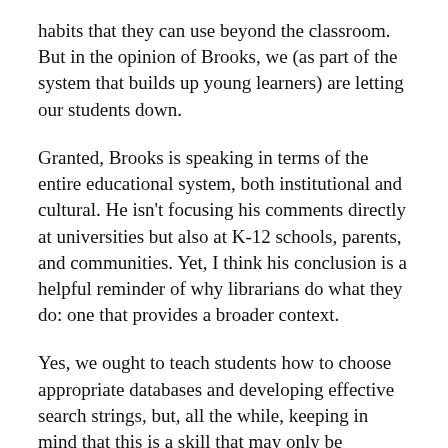habits that they can use beyond the classroom. But in the opinion of Brooks, we (as part of the system that builds up young learners) are letting our students down.
Granted, Brooks is speaking in terms of the entire educational system, both institutional and cultural. He isn't focusing his comments directly at universities but also at K-12 schools, parents, and communities. Yet, I think his conclusion is a helpful reminder of why librarians do what they do: one that provides a broader context.
Yes, we ought to teach students how to choose appropriate databases and developing effective search strings, but, all the while, keeping in mind that this is a skill that may only be applicable to the students' time at university. What is important is the application of learned skill to other life experiences.